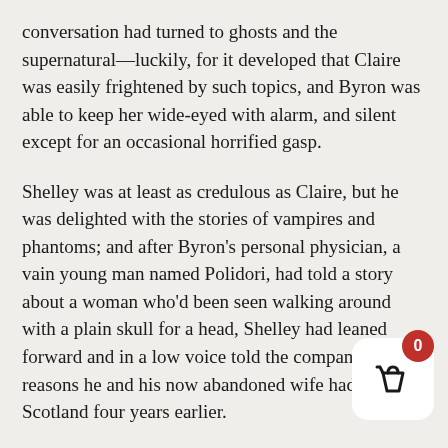conversation had turned to ghosts and the supernatural—luckily, for it developed that Claire was easily frightened by such topics, and Byron was able to keep her wide-eyed with alarm, and silent except for an occasional horrified gasp.
Shelley was at least as credulous as Claire, but he was delighted with the stories of vampires and phantoms; and after Byron's personal physician, a vain young man named Polidori, had told a story about a woman who'd been seen walking around with a plain skull for a head, Shelley had leaned forward and in a low voice told the company the reasons he and his now abandoned wife had fled Scotland four years earlier.
The narration consisted more of hints and atmospheric details than of any actual story, but Shelley's obvious conviction—his long-fingered h trembling in the candlelight and his big eyes glitte through the disordered halo of his curly hair—made
[Figure (other): Shopping basket UI widget with white rounded square background, basket icon, and red badge showing '0']